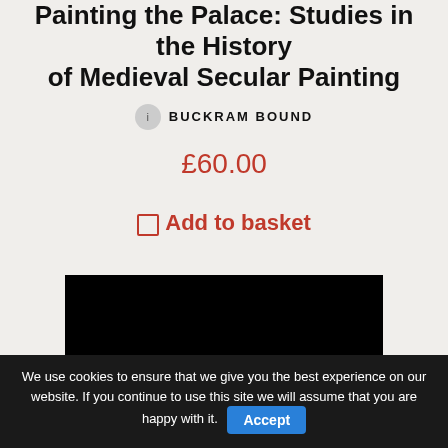Painting the Palace: Studies in the History of Medieval Secular Painting
BUCKRAM BOUND
£60.00
Add to basket
[Figure (photo): Black background book cover showing 'Studies in Late Byzantine Painting' title in blue text with partially visible author name below]
We use cookies to ensure that we give you the best experience on our website. If you continue to use this site we will assume that you are happy with it. Accept